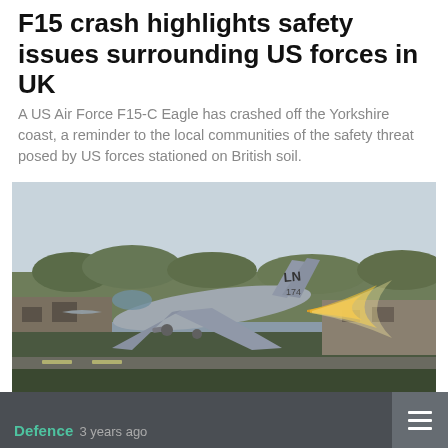F15 crash highlights safety issues surrounding US forces in UK
A US Air Force F15-C Eagle has crashed off the Yorkshire coast, a reminder to the local communities of the safety threat posed by US forces stationed on British soil.
[Figure (photo): An F-15 Eagle fighter jet with tail markings 'LN' and '174' taking off from a runway with afterburner flames visible, trees and buildings in the background.]
Defence   3 years ago